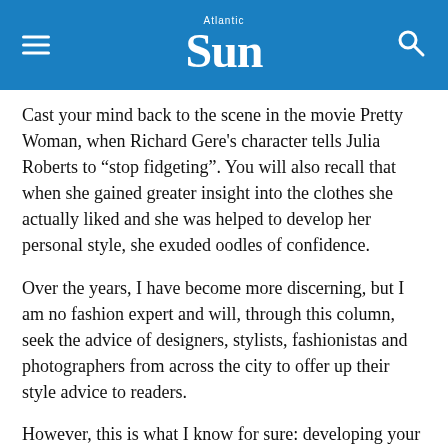Atlantic Sun
Cast your mind back to the scene in the movie Pretty Woman, when Richard Gere's character tells Julia Roberts to “stop fidgeting”. You will also recall that when she gained greater insight into the clothes she actually liked and she was helped to develop her personal style, she exuded oodles of confidence.
Over the years, I have become more discerning, but I am no fashion expert and will, through this column, seek the advice of designers, stylists, fashionistas and photographers from across the city to offer up their style advice to readers.
However, this is what I know for sure: developing your own personal style is paramount, as I believe the clothes you choose to wear are an expression of your individuality. Clothes enable us to tell the world our story without saying a word.